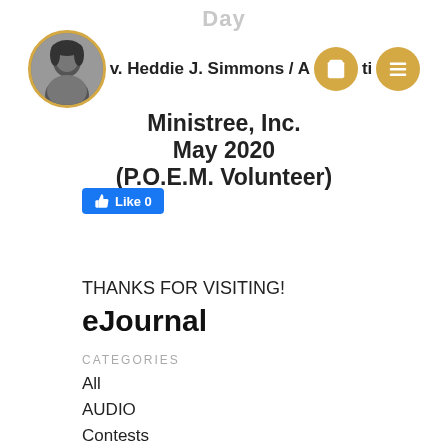Day
v. Heddie J. Simmons / A[icon]ti[icon] Ministree, Inc. May 2020 (P.O.E.M. Volunteer)
[Figure (photo): Black and white circular headshot photo of a woman, with a gold circular border]
Like 0
THANKS FOR VISITING!
eJournal
CATEGORIES
All
AUDIO
Contests